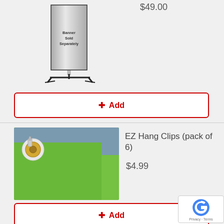$49.00
[Figure (illustration): Banner stand display with text 'Banner Sold Separately']
+ Add
[Figure (photo): EZ Hang Clips on a green board, showing a gold grommet clip in the upper left corner]
EZ Hang Clips (pack of 6)
$4.99
+ Add